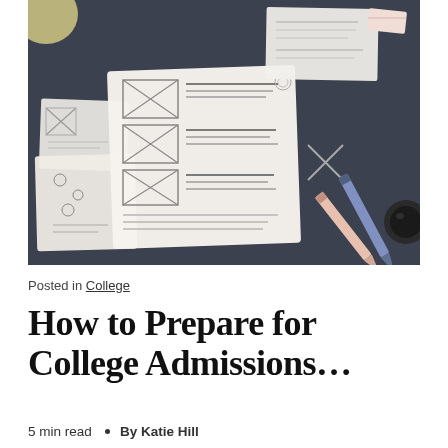[Figure (photo): Overhead view of a dark desk with multiple white sketch/wireframe papers, pencils (pink and blue/purple), a glass jar, eraser, and a round lens or cap. Papers contain hand-drawn wireframe sketches.]
Posted in College
How to Prepare for College Admissions…
5 min read  •  By Katie Hill